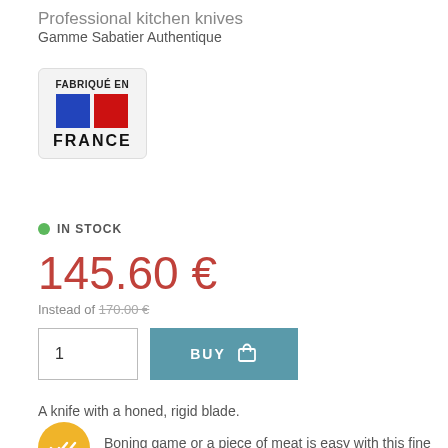Professional kitchen knives
Gamme Sabatier Authentique
[Figure (other): Fabriqué en France badge with French flag (blue and red squares) and bold text FRANCE]
IN STOCK
145.60 €
Instead of 170.00 €
1 (quantity box) BUY button
A knife with a honed, rigid blade.
[Figure (other): Yellow circle icon with double checkmark symbol]
Boning game or a piece of meat is easy with this fine blade